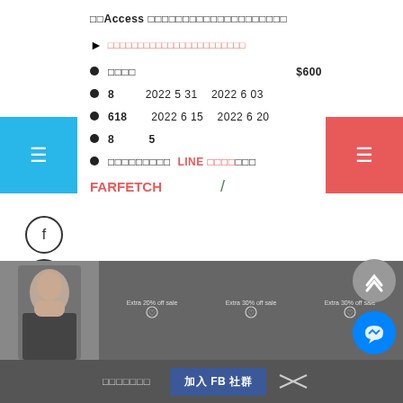早稲Access クーポンコードで最安値で購入する方法まとめ
▶ 最新クーポンコード活用サイト一覧はこちら
割引率 $600
8月 2022 5 31 〜 2022 6 03
618 2022 6 15 〜 2022 6 20
8月 5
登録はこちら LINE 友達追加はこちら
FARFETCH /
[Figure (photo): Woman in dark clothing, fashion photo]
Extra 20% off sale
後で見る　　加入 FB 社群